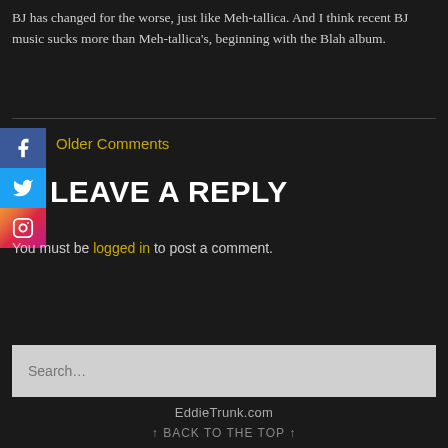BJ has changed for the worse, just like Meh-tallica. And I think recent BJ music sucks more than Meh-tallica's, beginning with the Blah album.
Older Comments
LEAVE A REPLY
You must be logged in to post a comment.
Search…
EddieTrunk.com
↑ BACK TO THE TOP ↑